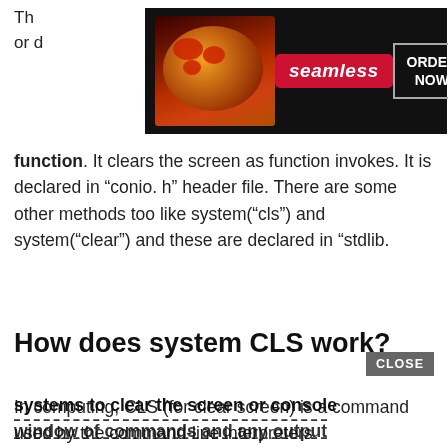[Figure (other): Seamless food delivery advertisement banner with pizza image, red Seamless logo, and ORDER NOW button on dark background]
The … e or d … function. It clears the screen as function invokes. It is declared in “conio. h” header file. There are some other methods too like system(“cls”) and system(“clear”) and these are declared in “stdlib.
How does system CLS work?
In computing, CLS (for clear screen) is a command used by the command-line interpreters COMMAND.COM and cmd.exe on DOS, Digital Research FlexOS, IBM OS/2, Microsoft Windows and ReactOS operating systems to clear the screen or console window of commands and any output…